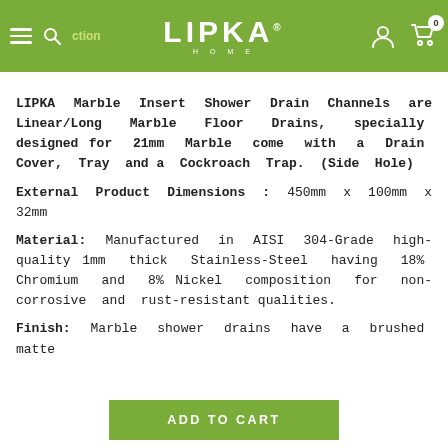LIPKA HOME
LIPKA Marble Insert Shower Drain Channels are Linear/Long Marble Floor Drains, specially designed for 21mm Marble come with a Drain Cover, Tray and a Cockroach Trap. (Side Hole)
External Product Dimensions : 450mm x 100mm x 32mm
Material: Manufactured in AISI 304-Grade high-quality 1mm thick Stainless-Steel having 18% Chromium and 8% Nickel composition for non-corrosive and rust-resistant qualities.
Finish: Marble shower drains have a brushed matte
ADD TO CART